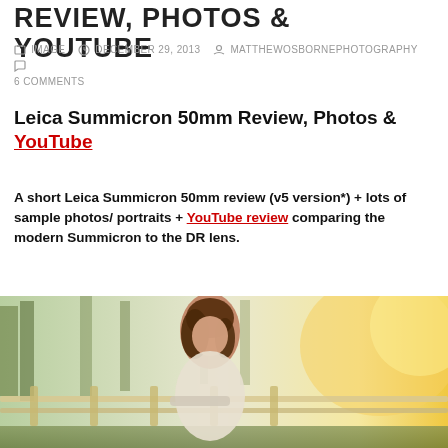REVIEW, PHOTOS & YOUTUBE
IMAGE  DECEMBER 29, 2013  MATTHEWOSBORNEPHOTOGRAPHY  6 COMMENTS
Leica Summicron 50mm Review, Photos & YouTube
A short Leica Summicron 50mm review (v5 version*) + lots of sample photos/ portraits + YouTube review comparing the modern Summicron to the DR lens.
[Figure (photo): Portrait photo of a young woman with long brown hair leaning on a wooden fence outdoors, warm golden bokeh background with trees.]